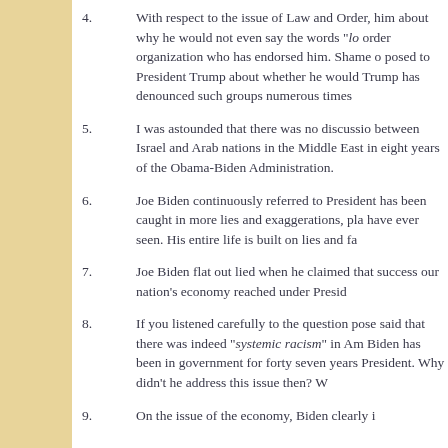4.  With respect to the issue of Law and Order, him about why he would not even say the words "lo... order organization who has endorsed him. Shame o... posed to President Trump about whether he would... Trump has denounced such groups numerous times...
5.  I was astounded that there was no discussio... between Israel and Arab nations in the Middle East... in eight years of the Obama-Biden Administration.
6.  Joe Biden continuously referred to President... has been caught in more lies and exaggerations, pla... have ever seen. His entire life is built on lies and fa...
7.  Joe Biden flat out lied when he claimed that... success our nation's economy reached under Presid...
8.  If you listened carefully to the question pose... said that there was indeed "systemic racism" in Am... Biden has been in government for forty seven years... President. Why didn't he address this issue then? W...
9.  On the issue of the economy, Biden clearly i...